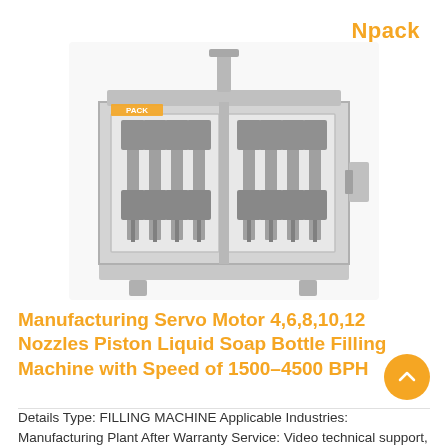Npack
[Figure (photo): Industrial piston liquid soap bottle filling machine with stainless steel frame, multiple nozzle heads, and transparent front panel showing internal components. Brand label 'PACK' visible on upper left of machine.]
Manufacturing Servo Motor 4,6,8,10,12 Nozzles Piston Liquid Soap Bottle Filling Machine with Speed of 1500-4500 BPH
Details Type: FILLING MACHINE Applicable Industries: Manufacturing Plant After Warranty Service: Video technical support, NO SERVICE, Online support, Spare parts,